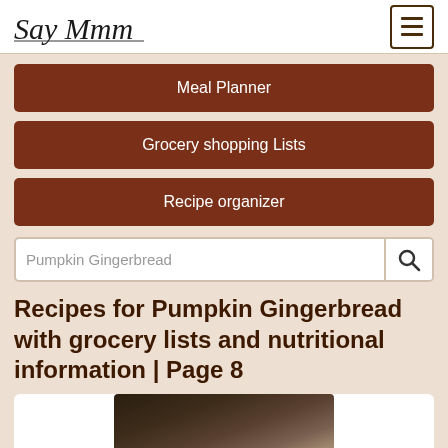Say Mmm
Meal Planner
Grocery shopping Lists
Recipe organizer
Pumpkin Gingerbread
Recipes for Pumpkin Gingerbread with grocery lists and nutritional information | Page 8
[Figure (photo): Food photo at bottom of page, partially visible, showing a dark background with what appears to be a baked good or food item]